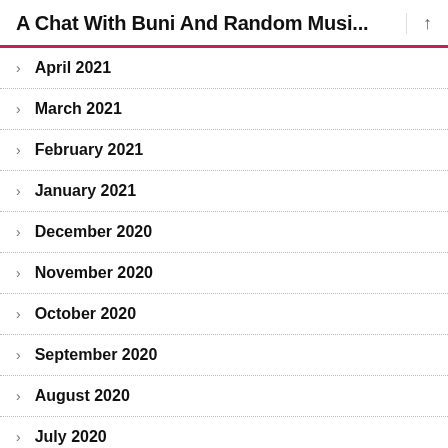A Chat With Buni And Random Musi...
April 2021
March 2021
February 2021
January 2021
December 2020
November 2020
October 2020
September 2020
August 2020
July 2020
June 2020